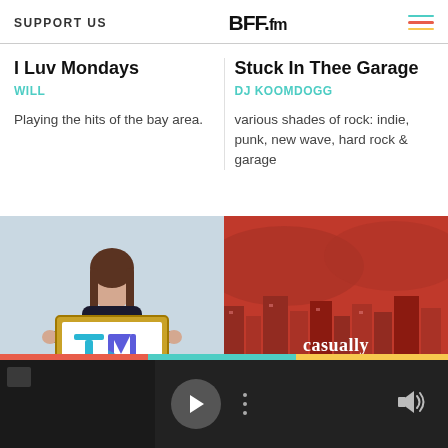SUPPORT US | BFF.fm
I Luv Mondays
WILL
Playing the hits of the bay area.
Stuck In Thee Garage
DJ KOOMDOGG
various shades of rock: indie, punk, new wave, hard rock & garage
[Figure (photo): Woman holding a framed TML logo sign]
[Figure (photo): Red-tinted cityscape with text 'casually crying']